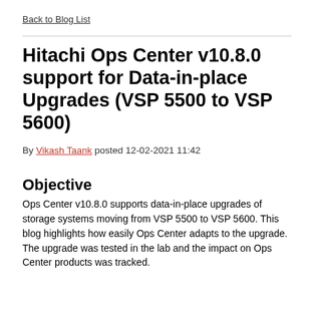Back to Blog List
Hitachi Ops Center v10.8.0 support for Data-in-place Upgrades (VSP 5500 to VSP 5600)
By Vikash Taank posted 12-02-2021 11:42
Objective
Ops Center v10.8.0 supports data-in-place upgrades of storage systems moving from VSP 5500 to VSP 5600. This blog highlights how easily Ops Center adapts to the upgrade. The upgrade was tested in the lab and the impact on Ops Center products was tracked.